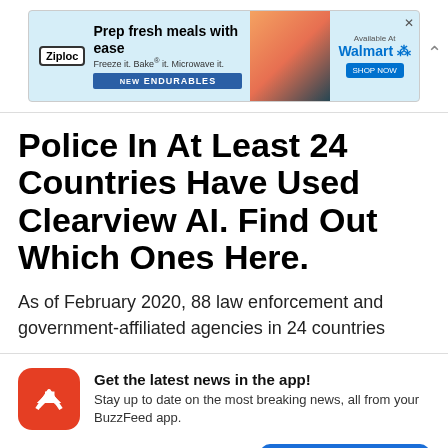[Figure (screenshot): Ziploc advertisement banner: 'Prep fresh meals with ease. Freeze it. Bake it. Microwave it. NEW ENDURABLES' with Walmart branding and a food image.]
Police In At Least 24 Countries Have Used Clearview AI. Find Out Which Ones Here.
As of February 2020, 88 law enforcement and government-affiliated agencies in 24 countries
[Figure (screenshot): BuzzFeed app promotional banner with red BuzzFeed logo icon. Text reads: 'Get the latest news in the app! Stay up to date on the most breaking news, all from your BuzzFeed app.' Buttons: 'Maybe later' and 'Get the app']